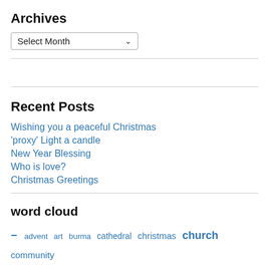Archives
Select Month (dropdown)
Recent Posts
Wishing you a peaceful Christmas
'proxy' Light a candle
New Year Blessing
Who is love?
Christmas Greetings
word cloud
– advent art burma cathedral christmas church community